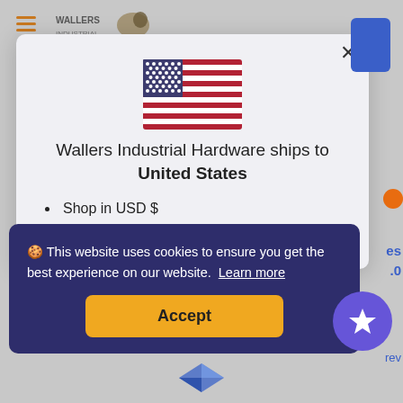[Figure (screenshot): Website modal dialog for Wallers Industrial Hardware with US flag, shipping info, and cookie consent banner overlay]
Wallers Industrial Hardware ships to United States
Shop in USD $
Get shipping options for United States
🍪 This website uses cookies to ensure you get the best experience on our website. Learn more
Accept